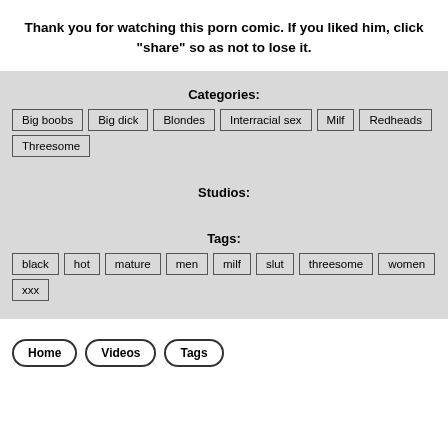Thank you for watching this porn comic. If you liked him, click "share" so as not to lose it.
Categories:
Big boobs
Big dick
Blondes
Interracial sex
Milf
Redheads
Threesome
Studios:
Tags:
black
hot
mature
men
milf
slut
threesome
women
xxx
Home   Videos   Tags